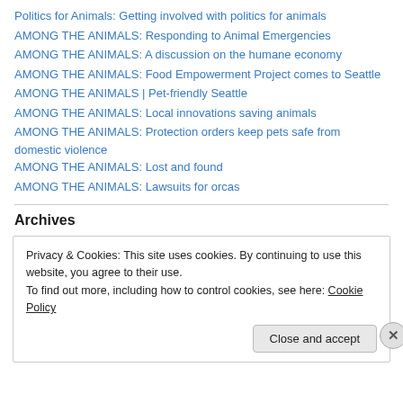Politics for Animals: Getting involved with politics for animals
AMONG THE ANIMALS: Responding to Animal Emergencies
AMONG THE ANIMALS: A discussion on the humane economy
AMONG THE ANIMALS: Food Empowerment Project comes to Seattle
AMONG THE ANIMALS | Pet-friendly Seattle
AMONG THE ANIMALS: Local innovations saving animals
AMONG THE ANIMALS: Protection orders keep pets safe from domestic violence
AMONG THE ANIMALS: Lost and found
AMONG THE ANIMALS: Lawsuits for orcas
Archives
Privacy & Cookies: This site uses cookies. By continuing to use this website, you agree to their use.
To find out more, including how to control cookies, see here: Cookie Policy